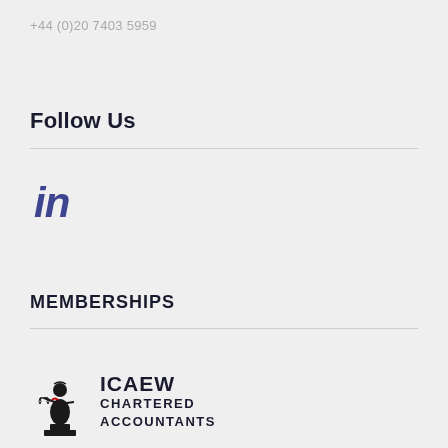+44 (0)20 7403 5959
Follow Us
[Figure (logo): LinkedIn 'in' logo icon in dark blue/indigo color]
MEMBERSHIPS
[Figure (logo): ICAEW Chartered Accountants logo with a figure holding scales of justice and the text 'ICAEW CHARTERED ACCOUNTANTS']